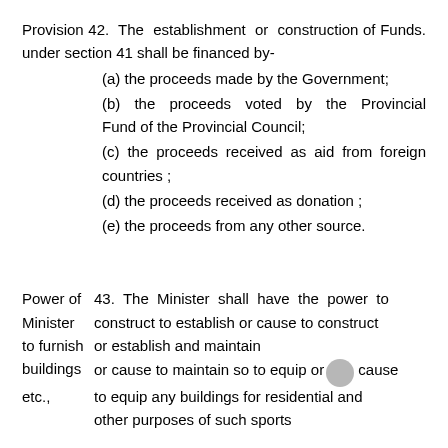Provision 42.  The  establishment  or  construction of Funds. under section 41 shall be financed by-
(a) the proceeds made by the Government;
(b)  the  proceeds  voted  by  the  Provincial Fund of the Provincial Council;
(c) the proceeds received as aid from foreign countries ;
(d) the proceeds received as donation ;
(e) the proceeds from any other source.
Power of 43.  The  Minister  shall  have  the  power  to Minister   construct to establish or cause to construct to furnish or establish and maintain buildings  or cause to maintain so to equip or cause etc.,       to equip any buildings for residential and other purposes of such sports